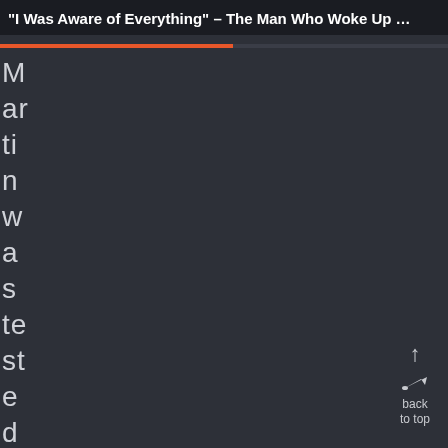“I Was Aware of Everything” – The Man Who Woke Up …
M
ar
ti
n
w
a
s
te
st
e
d
fo
r
back to top